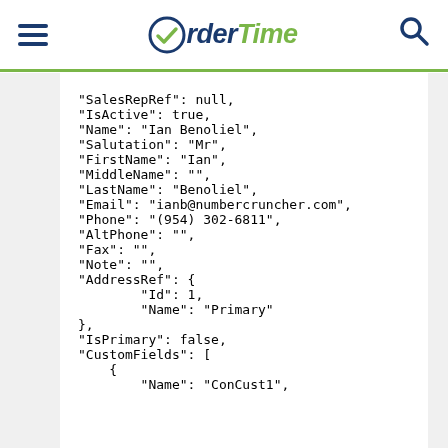OrderTime navigation header
"SalesRepRef": null,
"IsActive": true,
"Name": "Ian Benoliel",
"Salutation": "Mr",
"FirstName": "Ian",
"MiddleName": "",
"LastName": "Benoliel",
"Email": "ianb@numbercruncher.com",
"Phone": "(954) 302-6811",
"AltPhone": "",
"Fax": "",
"Note": "",
"AddressRef": {
    "Id": 1,
    "Name": "Primary"
},
"IsPrimary": false,
"CustomFields": [
    {
        "Name": "ConCust1",